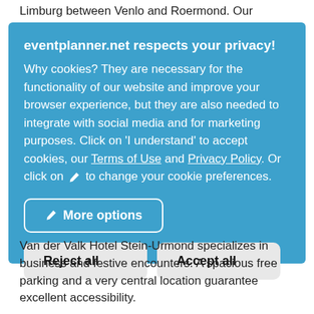Limburg between Venlo and Roermond. Our beautiful holiday home can be rented for groups of up to 30 people and offers
eventplanner.net respects your privacy! Why cookies? They are necessary for the functionality of our website and improve your browser experience, but they are also needed to integrate with social media and for marketing purposes. Click on 'I understand' to accept cookies, our Terms of Use and Privacy Policy. Or click on ✏ to change your cookie preferences.
✏ More options
Reject all
Accept all
Van der Valk Hotel Stein-Urmond specializes in business and festive encounters. A spacious free parking and a very central location guarantee excellent accessibility.